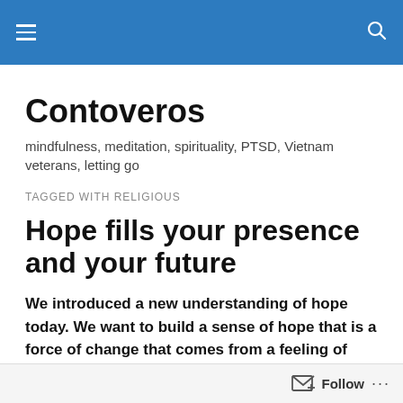Contoveros — site header navigation bar
Contoveros
mindfulness, meditation, spirituality, PTSD, Vietnam veterans, letting go
TAGGED WITH RELIGIOUS
Hope fills your presence and your future
We introduced a new understanding of hope today. We want to build a sense of hope that is a force of change that comes from a feeling of certainty
Follow ...